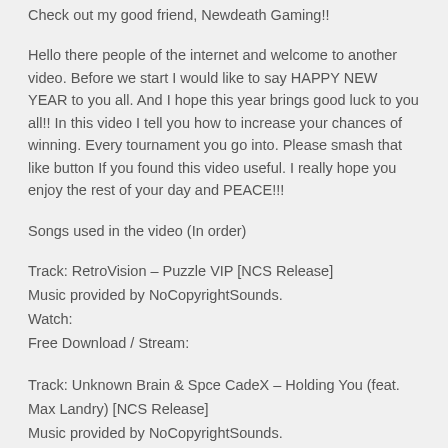Check out my good friend, Newdeath Gaming!!
Hello there people of the internet and welcome to another video. Before we start I would like to say HAPPY NEW YEAR to you all. And I hope this year brings good luck to you all!! In this video I tell you how to increase your chances of winning. Every tournament you go into. Please smash that like button If you found this video useful. I really hope you enjoy the rest of your day and PEACE!!!
Songs used in the video (In order)
Track: RetroVision – Puzzle VIP [NCS Release]
Music provided by NoCopyrightSounds.
Watch:
Free Download / Stream:
Track: Unknown Brain & Spce CadeX – Holding You (feat. Max Landry) [NCS Release]
Music provided by NoCopyrightSounds.
Watch: